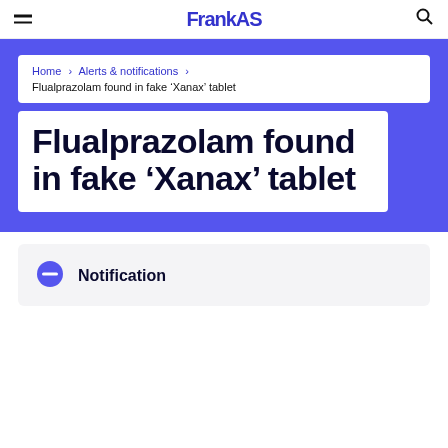— [logo: FrankAS] 🔍
Home › Alerts & notifications › Flualprazolam found in fake 'Xanax' tablet
Flualprazolam found in fake 'Xanax' tablet
Notification